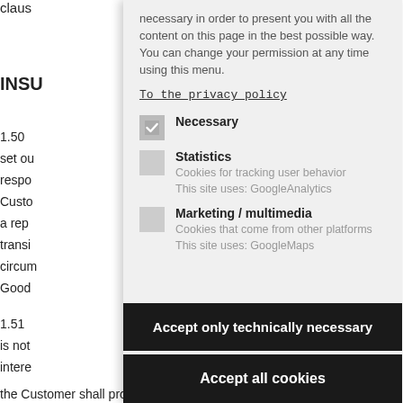claus
INSU
1.50
set ou
respo
Custo
a rep
transi
circum
Good
1.51
is not
intere
1.52
Custo
prem
the Customer shall provide the Supplier with copies of the
[Figure (screenshot): Cookie consent overlay popup with options: Necessary (checked), Statistics (unchecked), Marketing/multimedia (unchecked), and two buttons: 'Accept only technically necessary' and 'Accept all cookies'. Includes a privacy policy link and descriptive text about cookies.]